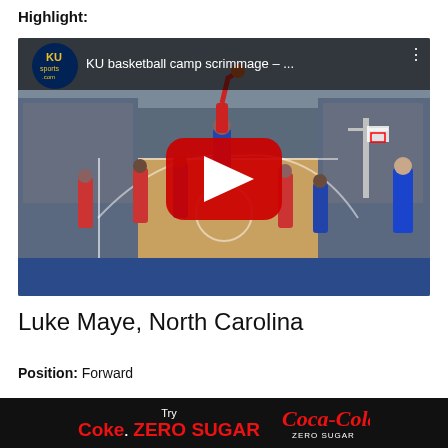Highlight:
[Figure (screenshot): YouTube video thumbnail showing KU basketball camp scrimmage with players on an indoor basketball court, crowd in background. YouTube play button overlay visible. KU sports logo in top-left. Title bar reads 'KU basketball camp scrimmage – ...']
Luke Maye, North Carolina
Position: Forward
Try Coke. ZERO SUGAR Coca-Cola ZERO SUGAR